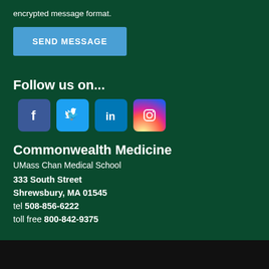encrypted message format.
[Figure (other): Blue 'SEND MESSAGE' button]
Follow us on...
[Figure (other): Social media icons: Facebook, Twitter, LinkedIn, Instagram]
Commonwealth Medicine
UMass Chan Medical School
333 South Street
Shrewsbury, MA 01545
tel 508-856-6222
toll free 800-842-9375